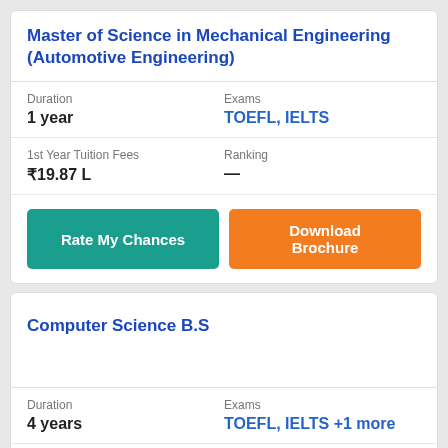Master of Science in Mechanical Engineering (Automotive Engineering)
| Duration | Exams |
| --- | --- |
| 1 year | TOEFL, IELTS |
| 1st Year Tuition Fees | Ranking |
| --- | --- |
| ₹19.87 L | — |
Computer Science B.S
| Duration | Exams |
| --- | --- |
| 4 years | TOEFL, IELTS +1 more |
1st Year Tuition Fees | Ranking